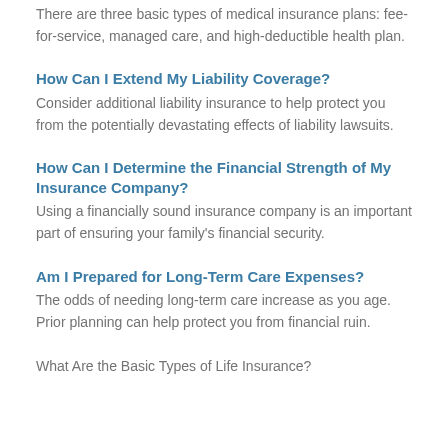There are three basic types of medical insurance plans: fee-for-service, managed care, and high-deductible health plan.
How Can I Extend My Liability Coverage?
Consider additional liability insurance to help protect you from the potentially devastating effects of liability lawsuits.
How Can I Determine the Financial Strength of My Insurance Company?
Using a financially sound insurance company is an important part of ensuring your family's financial security.
Am I Prepared for Long-Term Care Expenses?
The odds of needing long-term care increase as you age. Prior planning can help protect you from financial ruin.
What Are the Basic Types of Life Insurance?